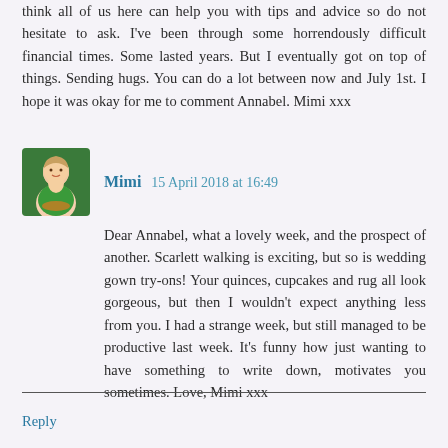think all of us here can help you with tips and advice so do not hesitate to ask. I've been through some horrendously difficult financial times. Some lasted years. But I eventually got on top of things. Sending hugs. You can do a lot between now and July 1st. I hope it was okay for me to comment Annabel. Mimi xxx
Mimi  15 April 2018 at 16:49
Dear Annabel, what a lovely week, and the prospect of another. Scarlett walking is exciting, but so is wedding gown try-ons! Your quinces, cupcakes and rug all look gorgeous, but then I wouldn't expect anything less from you. I had a strange week, but still managed to be productive last week. It's funny how just wanting to have something to write down, motivates you sometimes. Love, Mimi xxx
Reply